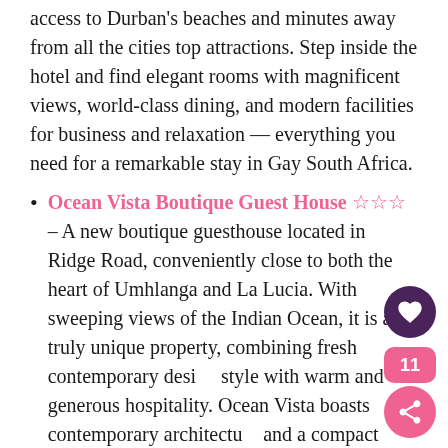access to Durban's beaches and minutes away from all the cities top attractions. Step inside the hotel and find elegant rooms with magnificent views, world-class dining, and modern facilities for business and relaxation — everything you need for a remarkable stay in Gay South Africa.
Ocean Vista Boutique Guest House ☆☆☆ – A new boutique guesthouse located in Ridge Road, conveniently close to both the heart of Umhlanga and La Lucia. With sweeping views of the Indian Ocean, it is a truly unique property, combining fresh contemporary design style with warm and generous hospitality. Ocean Vista boasts contemporary architecture and a compact interior, with a magnificent top